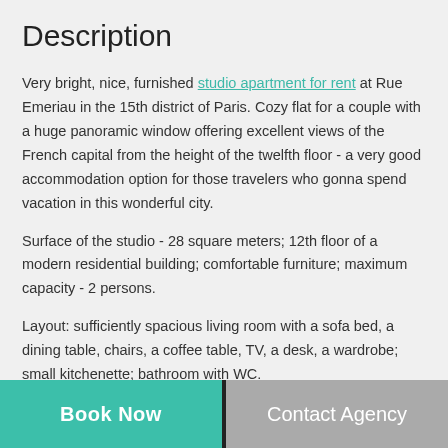Description
Very bright, nice, furnished studio apartment for rent at Rue Emeriau in the 15th district of Paris. Cozy flat for a couple with a huge panoramic window offering excellent views of the French capital from the height of the twelfth floor - a very good accommodation option for those travelers who gonna spend vacation in this wonderful city.
Surface of the studio - 28 square meters; 12th floor of a modern residential building; comfortable furniture; maximum capacity - 2 persons.
Layout: sufficiently spacious living room with a sofa bed, a dining table, chairs, a coffee table, TV, a desk, a wardrobe; small kitchenette; bathroom with WC.
There is an access to the swimming pool on the top of the building.
Book Now | Contact Agency